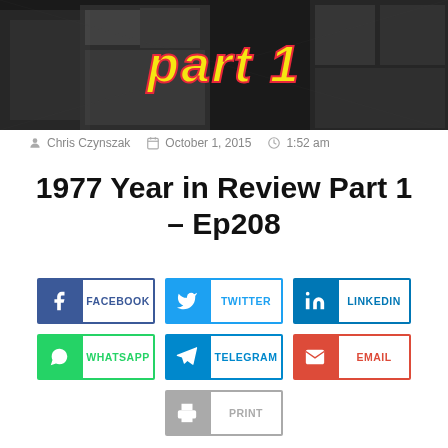[Figure (photo): Black and white collage banner with 'part 1' text in yellow italic bold font over vintage photos]
Chris Czynszak   October 1, 2015   1:52 am
1977 Year in Review Part 1 – Ep208
[Figure (infographic): Social share buttons: Facebook, Twitter, LinkedIn, WhatsApp, Telegram, Email, Print]